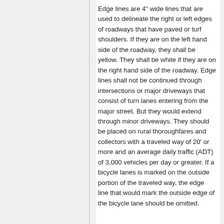Edge lines are 4" wide lines that are used to delineate the right or left edges of roadways that have paved or turf shoulders. If they are on the left hand side of the roadway, they shall be yellow. They shall be white if they are on the right hand side of the roadway. Edge lines shall not be continued through intersections or major driveways that consist of turn lanes entering from the major street. But they would extend through minor driveways. They should be placed on rural thoroughfares and collectors with a traveled way of 20' or more and an average daily traffic (ADT) of 3,000 vehicles per day or greater. If a bicycle lanes is marked on the outside portion of the traveled way, the edge line that would mark the outside edge of the bicycle lane should be omitted.